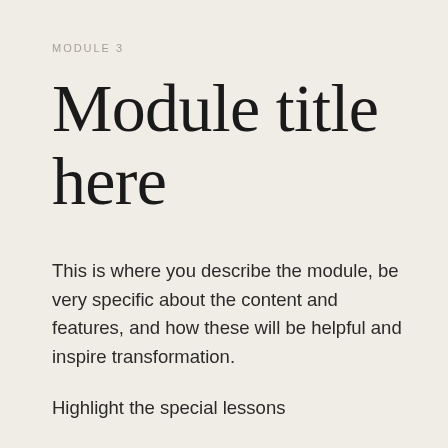MODULE 3
Module title here
This is where you describe the module, be very specific about the content and features, and how these will be helpful and inspire transformation.
Highlight the special lessons